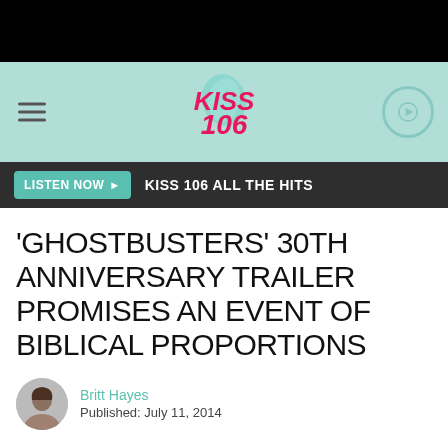[Figure (screenshot): KISS 106 radio station header bar with hamburger menu, logo, and play button on mint green background]
LISTEN NOW ▶  KISS 106 ALL THE HITS
'GHOSTBUSTERS' 30TH ANNIVERSARY TRAILER PROMISES AN EVENT OF BIBLICAL PROPORTIONS
Britt Hayes
Published: July 11, 2014
[Figure (screenshot): Video thumbnail showing Ghostbusters 30th Anniversary Re-Release trailer with TRAILERS badge]